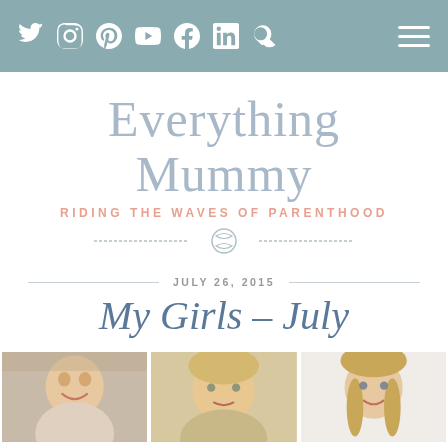Twitter Instagram Pinterest YouTube Facebook LinkedIn Search | Menu
[Figure (logo): Everything Mummy blog logo with text 'Everything Mummy' in large hand-drawn style font and subtitle 'Riding the Waves of Parenthood' in salmon/pink spaced caps, with a decorative rope knot divider below]
JULY 26, 2015
My Girls – July
[Figure (photo): Three photos of young girls side by side: left photo shows a toddler laughing, center photo shows a blonde girl with paint or marks on her face, right photo shows an older blonde girl smiling with braids]